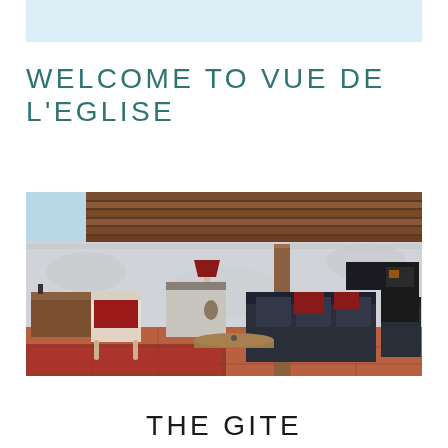WELCOME TO VUE DE L'EGLISE
[Figure (photo): Interior photo of a rustic gîte living room with stone walls, wooden beam ceiling, dark sofas with red cushions, a rocking chair with red cushion, fireplace/wood stove, coffee table, and terracotta tile floor.]
THE GITE